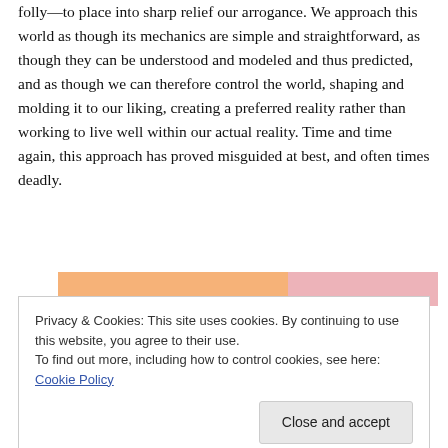folly—to place into sharp relief our arrogance. We approach this world as though its mechanics are simple and straightforward, as though they can be understood and modeled and thus predicted, and as though we can therefore control the world, shaping and molding it to our liking, creating a preferred reality rather than working to live well within our actual reality. Time and time again, this approach has proved misguided at best, and often times deadly.
[Figure (other): Partial view of a chart with orange and pink/rose colored horizontal bars, partially obscured by cookie consent banner]
Privacy & Cookies: This site uses cookies. By continuing to use this website, you agree to their use.
To find out more, including how to control cookies, see here: Cookie Policy
Close and accept